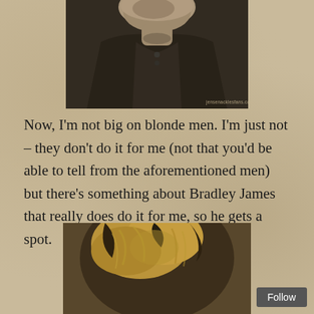[Figure (photo): Black and white close-up portrait photo of a man from chin/neck down, wearing a dark jacket. Watermark reads 'jensenacklesfans.com'.]
Now, I'm not big on blonde men. I'm just not – they don't do it for me (not that you'd be able to tell from the aforementioned men) but there's something about Bradley James that really does do it for me, so he gets a spot.
[Figure (photo): Close-up photo of the top of a person's head showing tousled blonde/brown hair.]